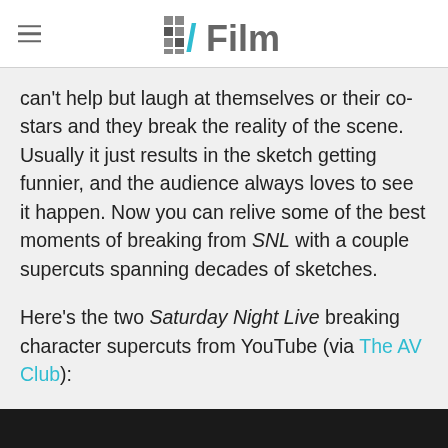/Film
can't help but laugh at themselves or their co-stars and they break the reality of the scene. Usually it just results in the sketch getting funnier, and the audience always loves to see it happen. Now you can relive some of the best moments of breaking from SNL with a couple supercuts spanning decades of sketches.
Here's the two Saturday Night Live breaking character supercuts from YouTube (via The AV Club):
[Figure (screenshot): Black video embed area/thumbnail at the bottom of the page]